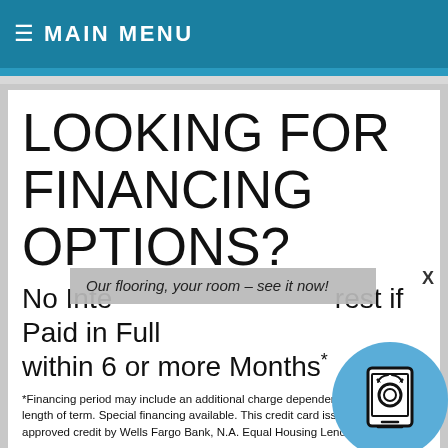≡ MAIN MENU
LOOKING FOR FINANCING OPTIONS?
No Interest if Paid in Full within 6 or more Months*
Our flooring, your room – see it now!
*Financing period may include an additional charge dependent upon length of term. Special financing available. This credit card issued with approved credit by Wells Fargo Bank, N.A. Equal Housing Lender.